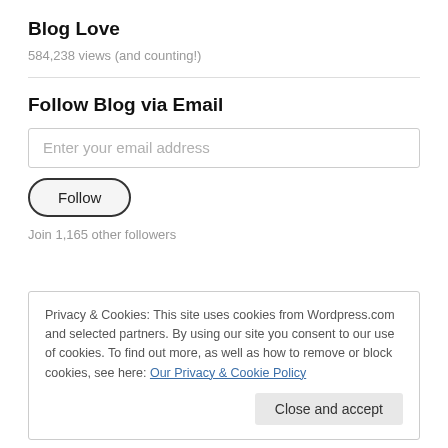Blog Love
584,238 views (and counting!)
Follow Blog via Email
Enter your email address
Follow
Join 1,165 other followers
Privacy & Cookies: This site uses cookies from Wordpress.com and selected partners. By using our site you consent to our use of cookies. To find out more, as well as how to remove or block cookies, see here: Our Privacy & Cookie Policy
Close and accept